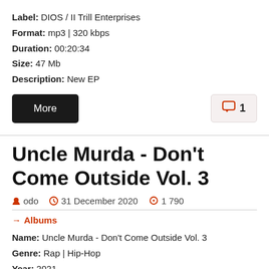Label: DIOS / II Trill Enterprises
Format: mp3 | 320 kbps
Duration: 00:20:34
Size: 47 Mb
Description: New EP
More
1
Uncle Murda - Don't Come Outside Vol. 3
odo  31 December 2020  1 790
→ Albums
Name: Uncle Murda - Don't Come Outside Vol. 3
Genre: Rap | Hip-Hop
Year: 2021
Label: ATM WorldWide Inc
Featuring: Benny the Butcher, Conway the Machine, Mysonne,
Tonike Melber, Lil Tims, One Boga, Rico Mane, Jason Rich...